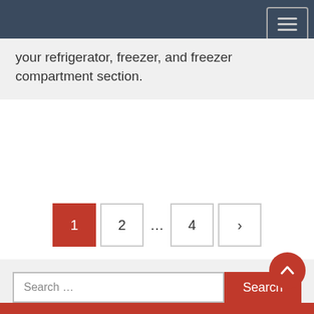Navigation bar with menu toggle button
your refrigerator, freezer, and freezer compartment section.
[Figure (other): Pagination navigation showing pages: 1 (active, red), 2, ..., 4, and next arrow button]
[Figure (other): Search bar with text input showing 'Search ...' placeholder and a red Search button, plus a red circular scroll-to-top button with upward chevron]